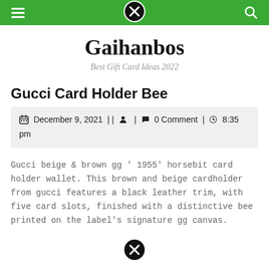Gaihanbos — navigation bar with hamburger menu, close button, and search icon
Gaihanbos
Best Gift Card Ideas 2022
Gucci Card Holder Bee
December 9, 2021 | | [person icon] | [comment icon] 0 Comment | [clock icon] 8:35 pm
Gucci beige & brown gg ' 1955' horsebit card holder wallet. This brown and beige cardholder from gucci features a black leather trim, with five card slots, finished with a distinctive bee printed on the label's signature gg canvas.